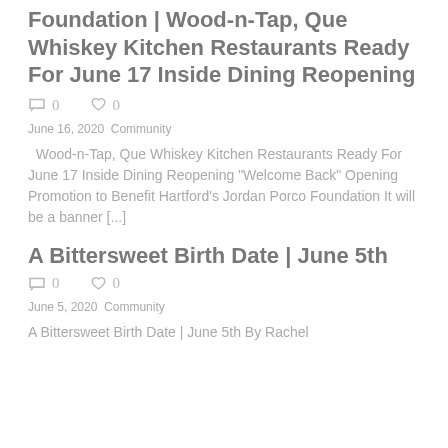Foundation | Wood-n-Tap, Que Whiskey Kitchen Restaurants Ready For June 17 Inside Dining Reopening
0   0
June 16, 2020   Community
Wood-n-Tap, Que Whiskey Kitchen Restaurants Ready For June 17 Inside Dining Reopening “Welcome Back” Opening Promotion to Benefit Hartford’s Jordan Porco Foundation It will be a banner [...]
A Bittersweet Birth Date | June 5th
0   0
June 5, 2020   Community
A Bittersweet Birth Date | June 5th By Rachel